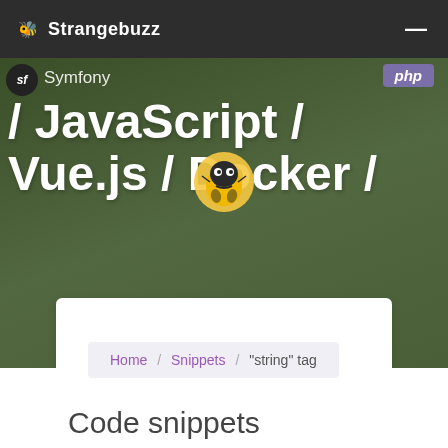🐝 Strangebuzz
[Figure (illustration): Hero banner with text overlays showing technology names: Symfony / PHP / JavaScript / Vue.js / Docker / Strangebuzz Devops, with a bee mascot logo, on a green outdoor background]
Home / Snippets / "string" tag
Code snippets